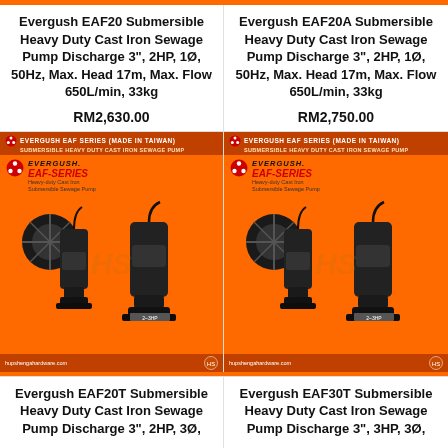Evergush EAF20 Submersible Heavy Duty Cast Iron Sewage Pump Discharge 3", 2HP, 1Ø, 50Hz, Max. Head 17m, Max. Flow 650L/min, 33kg
RM2,630.00
Evergush EAF20A Submersible Heavy Duty Cast Iron Sewage Pump Discharge 3", 2HP, 1Ø, 50Hz, Max. Head 17m, Max. Flow 650L/min, 33kg
RM2,750.00
[Figure (photo): Evergush EAF Series submersible heavy duty cast iron sewage pump product image on orange background, showing pump and impeller, from hupshengahardware.com]
[Figure (photo): Evergush EAF Series submersible heavy duty cast iron sewage pump product image on orange background, showing pump and impeller, from hupshengahardware.com]
Evergush EAF20T Submersible Heavy Duty Cast Iron Sewage Pump Discharge 3", 2HP, 3Ø,
Evergush EAF30T Submersible Heavy Duty Cast Iron Sewage Pump Discharge 3", 3HP, 3Ø,